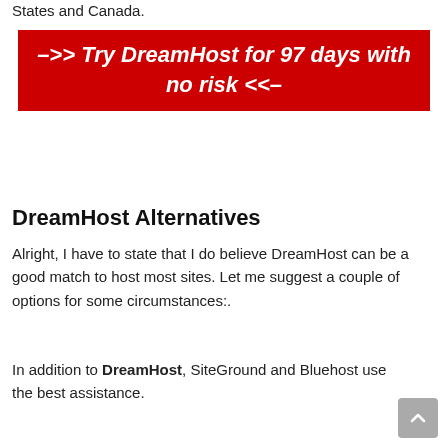States and Canada.
[Figure (infographic): Red banner with bold italic white text: –>> Try DreamHost for 97 days with no risk <<–]
DreamHost Alternatives
Alright, I have to state that I do believe DreamHost can be a good match to host most sites. Let me suggest a couple of options for some circumstances:.
In addition to DreamHost, SiteGround and Bluehost use the best assistance.